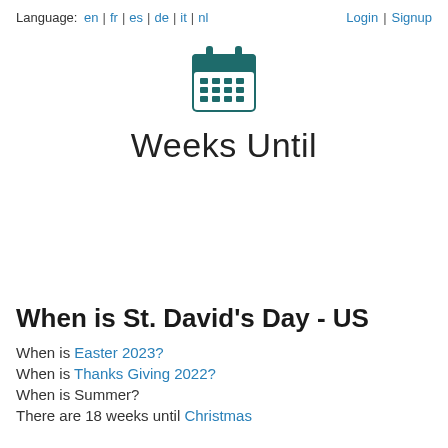Language: en | fr | es | de | it | nl   Login | Signup
[Figure (illustration): Calendar icon - dark teal colored calendar emoji/icon]
Weeks Until
When is St. David's Day - US
When is Easter 2023?
When is Thanks Giving 2022?
When is Summer?
There are 18 weeks until Christmas